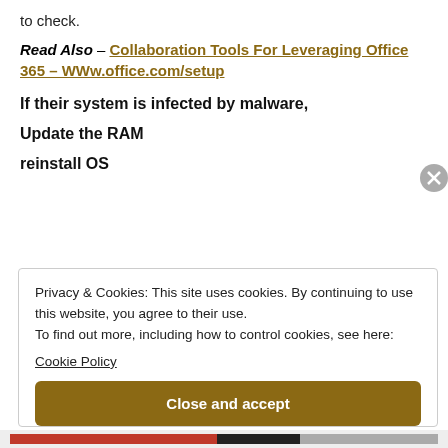to check.
Read Also – Collaboration Tools For Leveraging Office 365 – WWw.office.com/setup
If their system is infected by malware,
Update the RAM
reinstall OS
Privacy & Cookies: This site uses cookies. By continuing to use this website, you agree to their use.
To find out more, including how to control cookies, see here: Cookie Policy
Close and accept